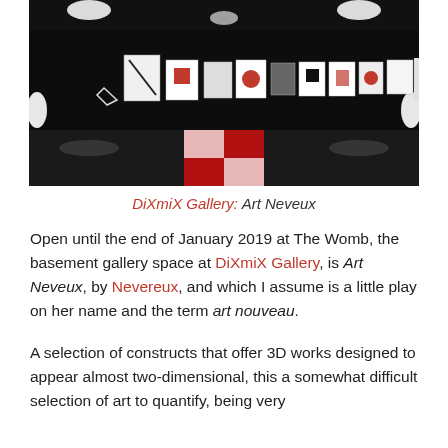[Figure (photo): A dark virtual gallery space (The Womb at DiXmiX Gallery) showing artworks displayed on dark walls with dramatic lighting. A red and white geometric floor pattern is visible in the center, and multiple framed artworks hang along the walls.]
DiXmiX Gallery: Art Neveux
Open until the end of January 2019 at The Womb, the basement gallery space at DiXmiX Gallery, is Art Neveux, by Nevereux, and which I assume is a little play on her name and the term art nouveau.
A selection of constructs that offer 3D works designed to appear almost two-dimensional, this a somewhat difficult selection of art to quantify, being very